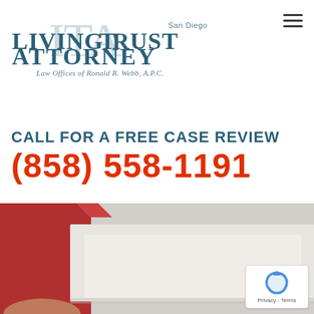[Figure (logo): San Diego Living Trust Attorney – Law Offices of Ronald R. Webb, A.P.C. logo with stylized LTA letters in teal/blue]
CALL FOR A FREE CASE REVIEW
(858) 558-1191
[Figure (photo): Photo of legal books/binder on a desk, red cover on left, pen partially visible at bottom]
[Figure (logo): reCAPTCHA badge with Privacy and Terms links]